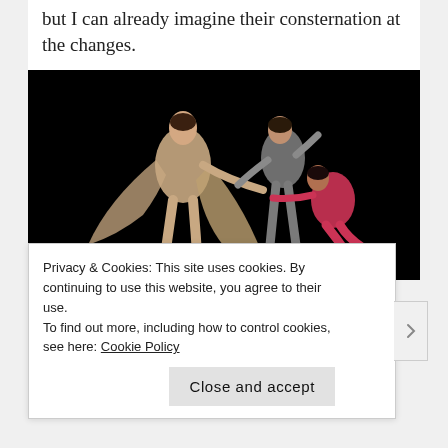but I can already imagine their consternation at the changes.
[Figure (photo): Three dancers performing on a dark stage. The lead dancer in front wears a flowing beige/tan draped costume. Behind are two other dancers, one in grey and one in red/pink, appearing to hold or pull the lead dancer's costume.]
Privacy & Cookies: This site uses cookies. By continuing to use this website, you agree to their use.
To find out more, including how to control cookies, see here: Cookie Policy
Close and accept